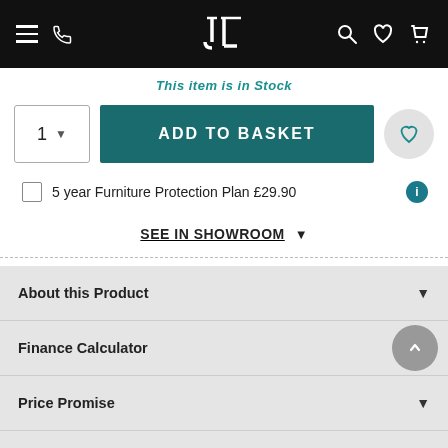[Figure (screenshot): E-commerce website navigation bar with hamburger menu, phone icon, logo (JL), search, heart/wishlist, and basket icons on black background]
This item is in Stock
1 ADD TO BASKET
5 year Furniture Protection Plan £29.90
SEE IN SHOWROOM
About this Product
Finance Calculator
Price Promise
Furniture Protection
Delivery